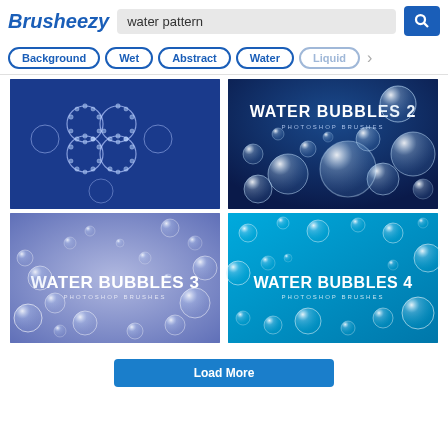Brusheezy — water pattern search
Background
Wet
Abstract
Water
Liquid
[Figure (illustration): Dark blue background with bubble rings forming flower/clover shapes]
[Figure (illustration): Water Bubbles 2 Photoshop Brushes — dark navy background with transparent water bubbles]
[Figure (illustration): Water Bubbles 3 Photoshop Brushes — blue-purple gradient background with scattered water bubbles]
[Figure (illustration): Water Bubbles 4 Photoshop Brushes — cyan/teal background with scattered water bubbles]